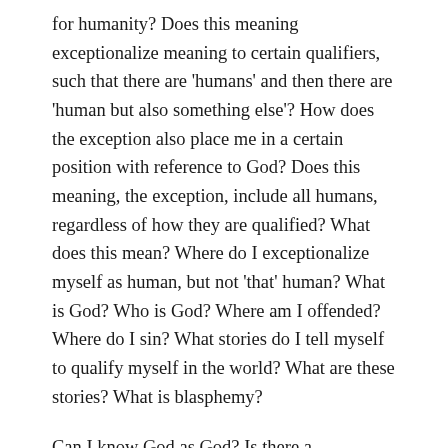for humanity? Does this meaning exceptionalize meaning to certain qualifiers, such that there are 'humans' and then there are 'human but also something else'? How does the exception also place me in a certain position with reference to God? Does this meaning, the exception, include all humans, regardless of how they are qualified? What does this mean? Where do I exceptionalize myself as human, but not 'that' human? What is God? Who is God? Where am I offended? Where do I sin? What stories do I tell myself to qualify myself in the world? What are these stories? What is blasphemy?
Can I know God as God? Is there a teleological suspension of the ethical?